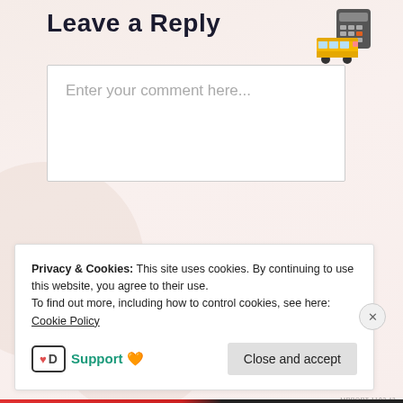Leave a Reply
[Figure (illustration): Calculator and school bus emoji icons in upper right corner]
Enter your comment here...
Privacy & Cookies: This site uses cookies. By continuing to use this website, you agree to their use.
To find out more, including how to control cookies, see here: Cookie Policy
Support 🧡
Close and accept